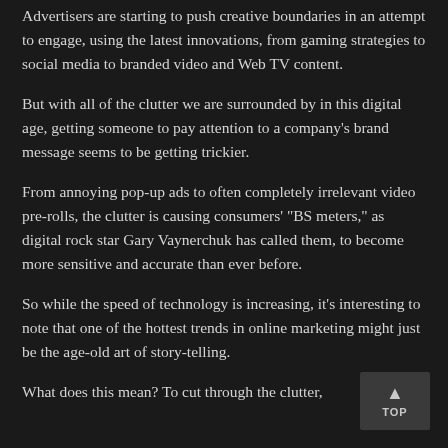Advertisers are starting to push creative boundaries in an attempt to engage, using the latest innovations, from gaming strategies to social media to branded video and Web TV content.
But with all of the clutter we are surrounded by in this digital age, getting someone to pay attention to a company’s brand message seems to be getting trickier.
From annoying pop-up ads to often completely irrelevant video pre-rolls, the clutter is causing consumers’ “BS meters,” as digital rock star Gary Vaynerchuk has called them, to become more sensitive and accurate than ever before.
So while the speed of technology is increasing, it’s interesting to note that one of the hottest trends in online marketing might just be the age-old art of story-telling.
What does this mean? To cut through the clutter,